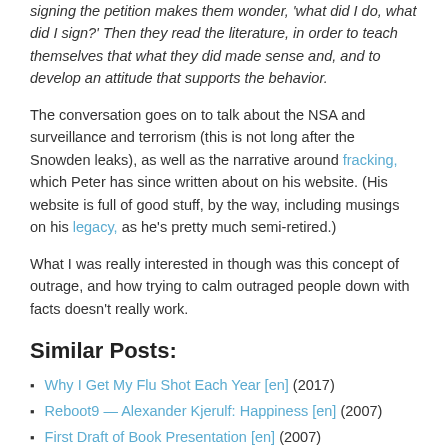signing the petition makes them wonder, 'what did I do, what did I sign?' Then they read the literature, in order to teach themselves that what they did made sense and, and to develop an attitude that supports the behavior.
The conversation goes on to talk about the NSA and surveillance and terrorism (this is not long after the Snowden leaks), as well as the narrative around fracking, which Peter has since written about on his website. (His website is full of good stuff, by the way, including musings on his legacy, as he's pretty much semi-retired.)
What I was really interested in though was this concept of outrage, and how trying to calm outraged people down with facts doesn't really work.
Similar Posts:
Why I Get My Flu Shot Each Year [en] (2017)
Reboot9 — Alexander Kjerulf: Happiness [en] (2007)
First Draft of Book Presentation [en] (2007)
On Anger, Harassment, Sadness, Forgiveness, and Outrage [en] (2017)
Patents [en] (2001)
Trust [en] (2001)
Is Web10: The Future is Handle the Request [en] (2013)